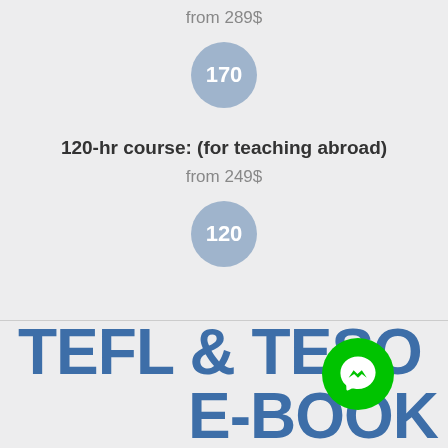from 289$
[Figure (infographic): Circle badge with number 170]
120-hr course: (for teaching abroad)
from 249$
[Figure (infographic): Circle badge with number 120]
[Figure (logo): Facebook Messenger logo icon (green circle with white lightning bolt)]
TEFL & TESOL E-BOOK